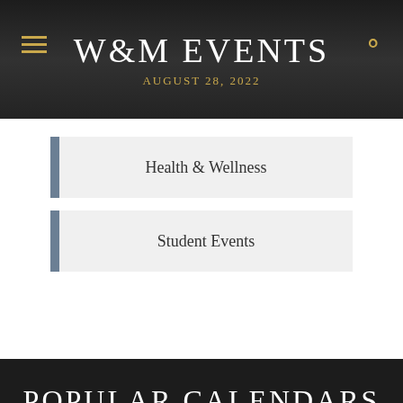W&M EVENTS
AUGUST 28, 2022
Health & Wellness
Student Events
POPULAR CALENDARS
ACADEMIC CALENDARS
ARTS & SCIENCES